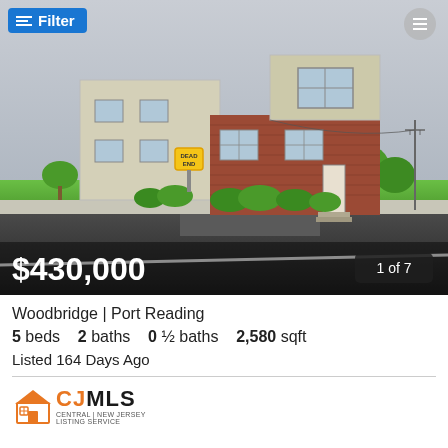[Figure (photo): Exterior photo of a two-story brick and stucco house on a street corner, with a Dead End sign visible, trees in background, overcast sky. A 'Filter' button overlay is in the top-left and a menu icon in the top-right. Price overlay shows $430,000 and photo counter '1 of 7'.]
Woodbridge | Port Reading
5 beds   2 baths   0 ½ baths   2,580 sqft
Listed 164 Days Ago
[Figure (logo): CJMLS (Central Jersey Multiple Listing System) logo with orange house icon and stylized text]